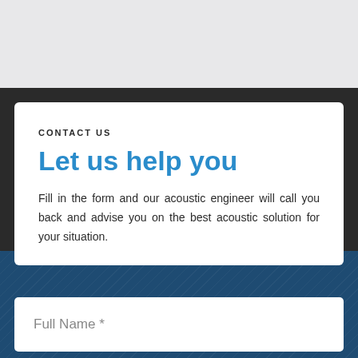CONTACT US
Let us help you
Fill in the form and our acoustic engineer will call you back and advise you on the best acoustic solution for your situation.
Full Name *
Email *